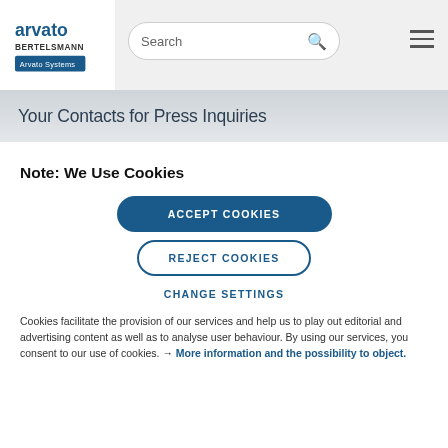[Figure (logo): Arvato Bertelsmann Arvato Systems logo]
Search [search icon] [hamburger menu]
Your Contacts for Press Inquiries
Note: We Use Cookies
ACCEPT COOKIES
REJECT COOKIES
CHANGE SETTINGS
Cookies facilitate the provision of our services and help us to play out editorial and advertising content as well as to analyse user behaviour. By using our services, you consent to our use of cookies. → More information and the possibility to object.